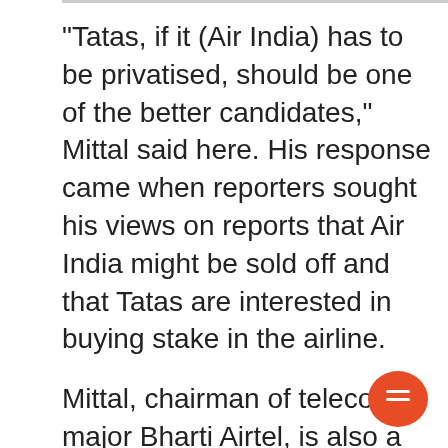"Tatas, if it (Air India) has to be privatised, should be one of the better candidates," Mittal said here. His response came when reporters sought his views on reports that Air India might be sold off and that Tatas are interested in buying stake in the airline.
Mittal, chairman of telecom major Bharti Airtel, is also a well known face of Indian business. There are various proposals, including complete privatisation, are on the table to reverse the fortunes of Air India but there is no finality yet.
[Figure (illustration): Orange circular chat/comment button icon in the bottom right corner]